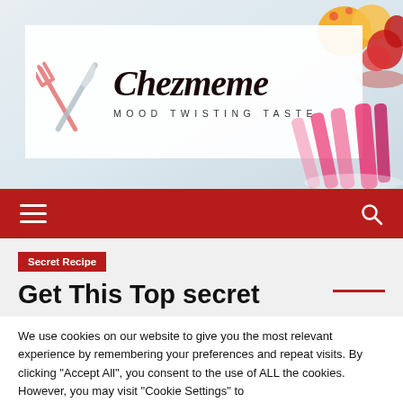[Figure (logo): Chezmeme food blog logo with crossed fork and knife icon in pink/red, text 'Chezmeme' in large italic serif, tagline 'MOOD TWISTING TASTE' below, with food background images (fruits top right, rhubarb bottom right)]
Navigation bar with hamburger menu icon and search icon on dark red background
Secret Recipe
Get This Top secret
We use cookies on our website to give you the most relevant experience by remembering your preferences and repeat visits. By clicking “Accept All”, you consent to the use of ALL the cookies. However, you may visit “Cookie Settings” to